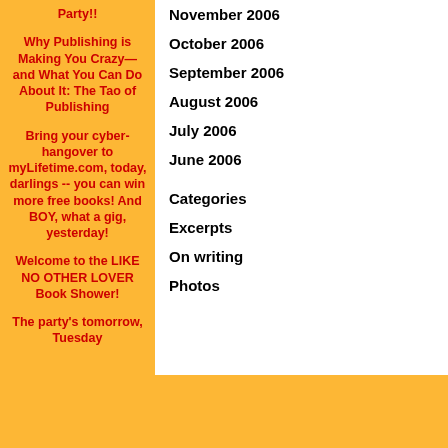Party!!
Why Publishing is Making You Crazy—and What You Can Do About It: The Tao of Publishing
Bring your cyber-hangover to myLifetime.com, today, darlings -- you can win more free books! And BOY, what a gig, yesterday!
Welcome to the LIKE NO OTHER LOVER Book Shower!
The party's tomorrow, Tuesday
November 2006
October 2006
September 2006
August 2006
July 2006
June 2006
Categories
Excerpts
On writing
Photos